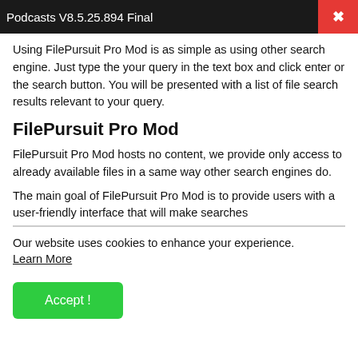Podcasts V8.5.25.894 Final
Using FilePursuit Pro Mod is as simple as using other search engine. Just type the your query in the text box and click enter or the search button. You will be presented with a list of file search results relevant to your query.
FilePursuit Pro Mod
FilePursuit Pro Mod hosts no content, we provide only access to already available files in a same way other search engines do.
The main goal of FilePursuit Pro Mod is to provide users with a user-friendly interface that will make searches
Our website uses cookies to enhance your experience. Learn More
Accept !